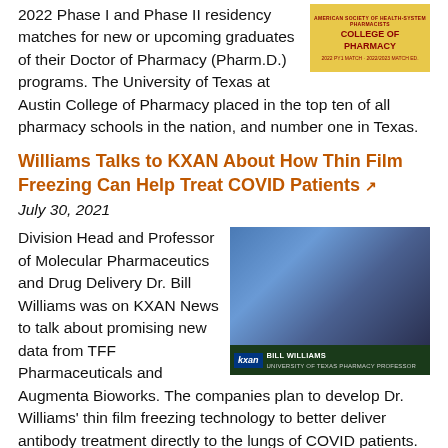2022 Phase I and Phase II residency matches for new or upcoming graduates of their Doctor of Pharmacy (Pharm.D.) programs. The University of Texas at Austin College of Pharmacy placed in the top ten of all pharmacy schools in the nation, and number one in Texas.
[Figure (logo): American Society of Health-System Pharmacists badge/logo on yellow background]
Williams Talks to KXAN About How Thin Film Freezing Can Help Treat COVID Patients ↗
July 30, 2021
[Figure (photo): KXAN News screenshot showing Dr. Bill Williams, University of Texas Pharmacy Professor, with a sunset skyline in the background. Lower bar reads: kxan | BILL WILLIAMS | UNIVERSITY OF TEXAS PHARMACY PROFESSOR]
Division Head and Professor of Molecular Pharmaceutics and Drug Delivery Dr. Bill Williams was on KXAN News to talk about promising new data from TFF Pharmaceuticals and Augmenta Bioworks. The companies plan to develop Dr. Williams' thin film freezing technology to better deliver antibody treatment directly to the lungs of COVID patients.